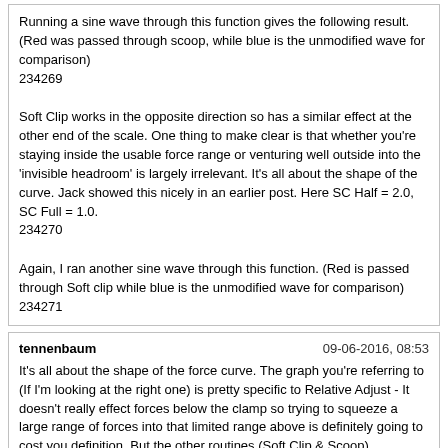Running a sine wave through this function gives the following result. (Red was passed through scoop, while blue is the unmodified wave for comparison) 234269
Soft Clip works in the opposite direction so has a similar effect at the other end of the scale. One thing to make clear is that whether you're staying inside the usable force range or venturing well outside into the 'invisible headroom' is largely irrelevant. It's all about the shape of the curve. Jack showed this nicely in an earlier post. Here SC Half = 2.0, SC Full = 1.0. 234270
Again, I ran another sine wave through this function. (Red is passed through Soft clip while blue is the unmodified wave for comparison) 234271
tennenbaum
09-06-2016, 08:53
It's all about the shape of the force curve. The graph you're referring to (If I'm looking at the right one) is pretty specific to Relative Adjust - It doesn't really effect forces below the clamp so trying to squeeze a large range of forces into that limited range above is definitely going to cost you definition. But the other routines (Soft Clip & Scoop) manipulate forces over their entire input range. This is an important difference.
I'll use scoop to try and illustrate as it's a little easier. SK = 0.80, SR = 0.25. With these settings the input force range [0.0 - 0.80] is being squeezed or compressed into the [0.0 - 0.60] output range. Input forces in the [0.80 - 1.0] range are being expanded out to [0.60 - 1.00]. 234268
Running a sine wave through this function gives the following result. (Red was